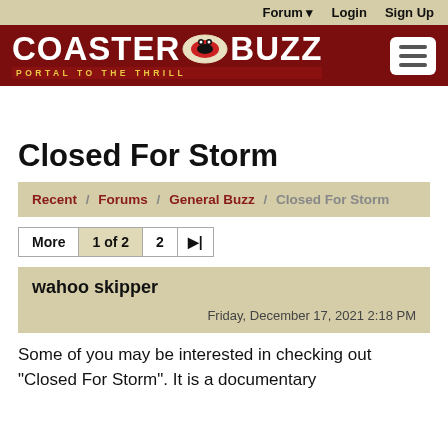Forum   Login   Sign Up
[Figure (logo): CoasterBuzz - Portal to the Thrill logo on dark red background with hamburger menu button]
Closed For Storm
Recent / Forums / General Buzz / Closed For Storm
More   1 of 2   2   ▶|
wahoo skipper
Friday, December 17, 2021 2:18 PM
Some of you may be interested in checking out "Closed For Storm". It is a documentary